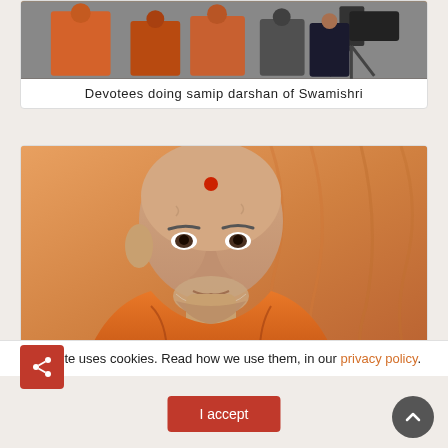[Figure (photo): Devotees doing samip darshan of Swamishri — group photo with people in orange robes and camera equipment visible]
Devotees doing samip darshan of Swamishri
[Figure (photo): Close-up portrait of Swamishri — elderly monk wearing orange robes with red tilak on forehead, orange/warm background]
This site uses cookies. Read how we use them, in our privacy policy.
I accept